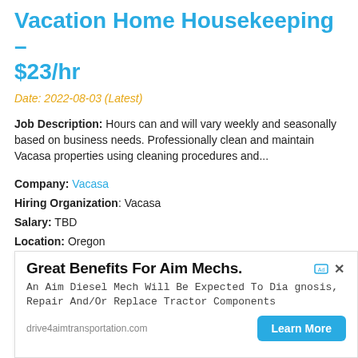Vacation Home Housekeeping – $23/hr
Date: 2022-08-03 (Latest)
Job Description: Hours can and will vary weekly and seasonally based on business needs. Professionally clean and maintain Vacasa properties using cleaning procedures and...
Company: Vacasa
Hiring Organization: Vacasa
Salary: TBD
Location: Oregon
Street Address: TBD
Locality: Oregon
Region: disclosed when applied
Postal Code: disclosed when applied
[Figure (infographic): Advertisement banner for Aim Mechs diesel mechanic jobs. Title: Great Benefits For Aim Mechs. Body: An Aim Diesel Mech Will Be Expected To Diagnosis, Repair And/Or Replace Tractor Components. URL: drive4aimtransportation.com. Button: Learn More]